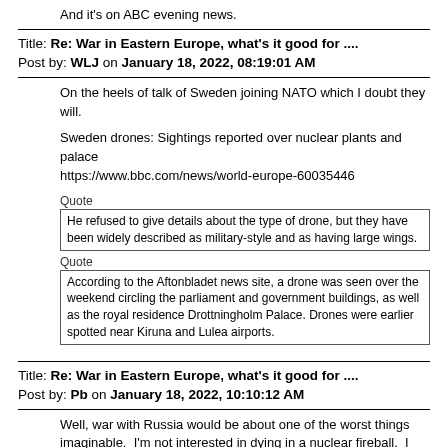And it's on ABC evening news.
Title: Re: War in Eastern Europe, what's it good for ....
Post by: WLJ on January 18, 2022, 08:19:01 AM
On the heels of talk of Sweden joining NATO which I doubt they will.
Sweden drones: Sightings reported over nuclear plants and palace
https://www.bbc.com/news/world-europe-60035446
Quote
He refused to give details about the type of drone, but they have been widely described as military-style and as having large wings.
Quote
According to the Aftonbladet news site, a drone was seen over the weekend circling the parliament and government buildings, as well as the royal residence Drottningholm Palace. Drones were earlier spotted near Kiruna and Lulea airports.
Title: Re: War in Eastern Europe, what's it good for ....
Post by: Pb on January 18, 2022, 10:10:12 AM
Well, war with Russia would be about one of the worst things imaginable.  I'm not interested in dying in a nuclear fireball.  I hope Biden isn't that stupid.   ;/